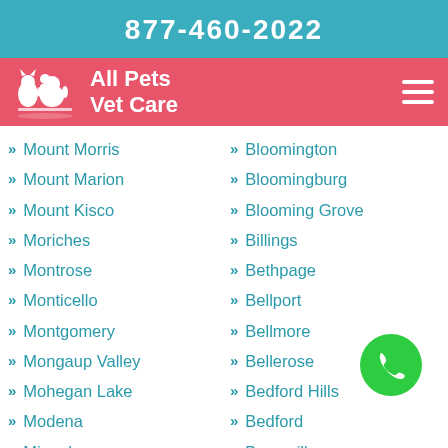877-460-2022
All Pets Vet Care
Mount Morris
Mount Marion
Mount Kisco
Moriches
Montrose
Monticello
Montgomery
Mongaup Valley
Mohegan Lake
Modena
Mineola
Milton
Millwood
Bloomington
Bloomingburg
Blooming Grove
Billings
Bethpage
Bellport
Bellmore
Bellerose
Bedford Hills
Bedford
Bearsville
Bear Mountain
Beacon